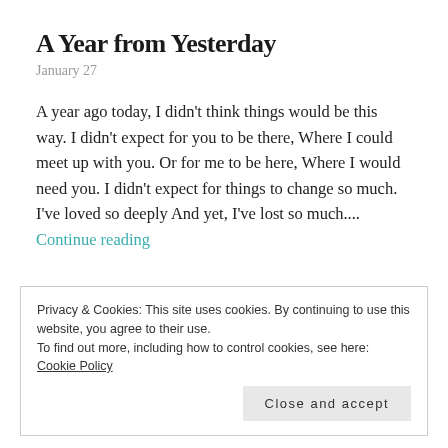A Year from Yesterday
January 27
A year ago today, I didn't think things would be this way. I didn't expect for you to be there, Where I could meet up with you. Or for me to be here, Where I would need you. I didn't expect for things to change so much. I've loved so deeply And yet, I've lost so much.... Continue reading
Privacy & Cookies: This site uses cookies. By continuing to use this website, you agree to their use.
To find out more, including how to control cookies, see here: Cookie Policy
Close and accept